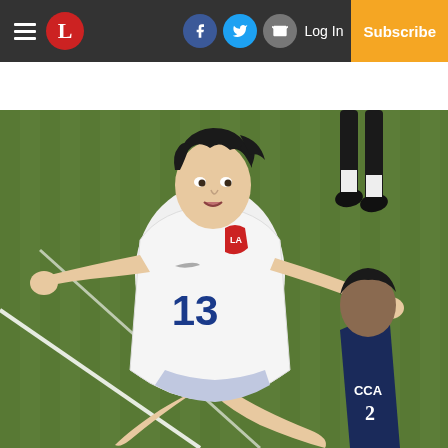Navigation bar with hamburger menu, L logo, Facebook, Twitter, Email icons, Log In link, and Subscribe button
[Figure (photo): Soccer player wearing white jersey number 13 with LA logo, sliding or lunging on a green grass field, with an opposing player in dark blue CCA jersey on the right side]